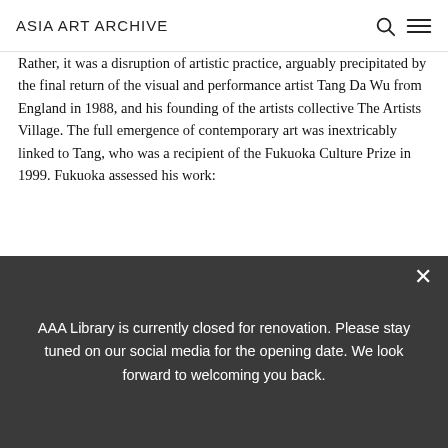ASIA ART ARCHIVE
Rather, it was a disruption of artistic practice, arguably precipitated by the final return of the visual and performance artist Tang Da Wu from England in 1988, and his founding of the artists collective The Artists Village. The full emergence of contemporary art was inextricably linked to Tang, who was a recipient of the Fukuoka Culture Prize in 1999. Fukuoka assessed his work:
Throughout the 1980s and 90s Tang Da Wu has played a leading role in the art scene of Southeast Asia...
AAA Library is currently closed for renovation. Please stay tuned on our social media for the opening date. We look forward to welcoming you back.